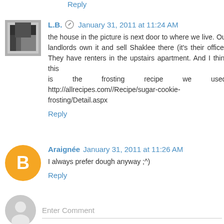Reply
L.B.  January 31, 2011 at 11:24 AM
the house in the picture is next door to where we live. Our landlords own it and sell Shaklee there (it's their office). They have renters in the upstairs apartment. And I think this is the frosting recipe we used: http://allrecipes.com//Recipe/sugar-cookie-frosting/Detail.aspx
Reply
Araignée  January 31, 2011 at 11:26 AM
I always prefer dough anyway ;^)
Reply
Enter Comment